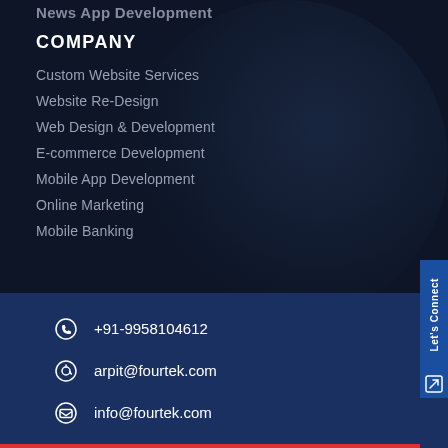News App Development
COMPANY
Custom Website Services
Website Re-Design
Web Design & Development
E-commerce Development
Mobile App Development
Online Marketing
Mobile Banking
CONTACT
+91-9958104612
arpit@fourtek.com
info@fourtek.com